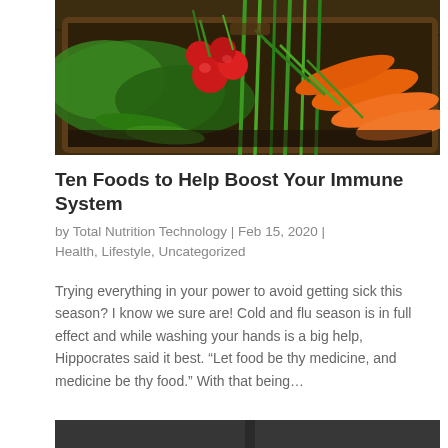[Figure (photo): Wooden crate filled with fresh vegetables including radishes, green onions, carrots, and leafy greens on a wooden surface.]
Ten Foods to Help Boost Your Immune System
by Total Nutrition Technology | Feb 15, 2020 | Health, Lifestyle, Uncategorized
Trying everything in your power to avoid getting sick this season? I know we sure are! Cold and flu season is in full effect and while washing your hands is a big help, Hippocrates said it best. “Let food be thy medicine, and medicine be thy food.” With that being…
[Figure (photo): Bottom portion of a second article image, partially visible.]